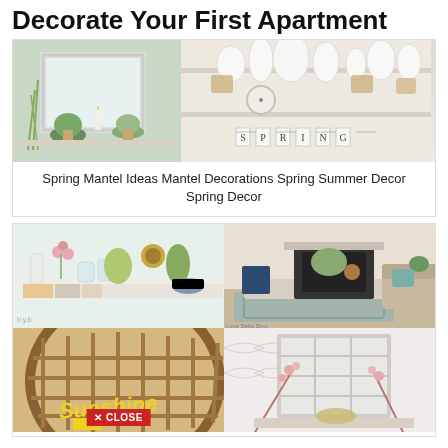Decorate Your First Apartment
[Figure (photo): Two side-by-side photos: left shows green plants and a white mirror on a windowsill; right shows white shelves with white vases, a clock, and a SPRING banner]
Spring Mantel Ideas Mantel Decorations Spring Summer Decor Spring Decor
[Figure (photo): Four photos in a 2x2 grid: top-left shows spring flowers and vases on a shelf; top-right shows a cozy living room with patterned chair near fireplace; bottom-left shows a woven basket with Sunshine sign; bottom-right shows a window frame decoration with flowers]